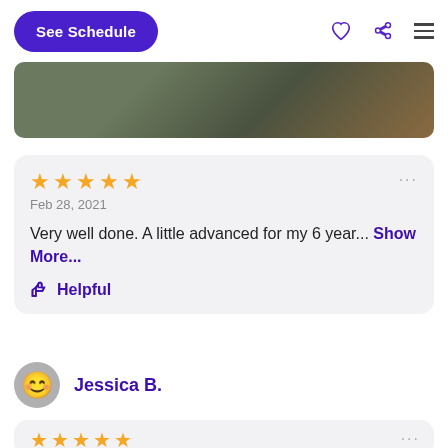See Schedule
[Figure (screenshot): Navigation bar with See Schedule button, heart icon, share icon, and hamburger menu]
[Figure (photo): Partial photo showing a dark background with a person]
★★★★★  Feb 28, 2021  Very well done. A little advanced for my 6 year... Show More...  👍 Helpful
Jessica B.
★★★★★